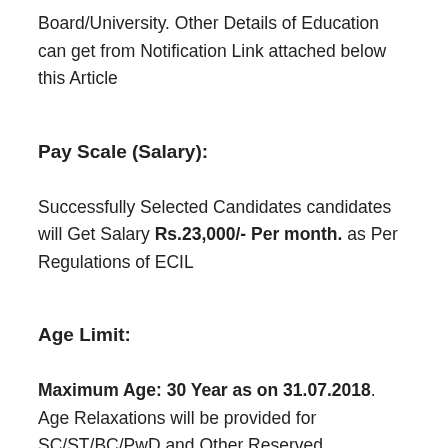Board/University. Other Details of Education can get from Notification Link attached below this Article
Pay Scale (Salary):
Successfully Selected Candidates candidates will Get Salary Rs.23,000/- Per month. as Per Regulations of ECIL
Age Limit:
Maximum Age: 30 Year as on 31.07.2018. Age Relaxations will be provided for SC/ST/BC/PwD and Other Reserved Contenders.